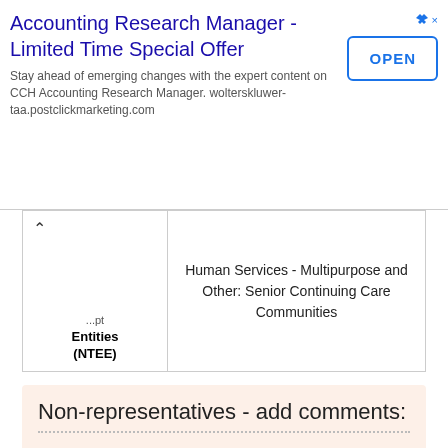[Figure (screenshot): Advertisement banner for Accounting Research Manager - Limited Time Special Offer by CCH/Wolters Kluwer, with an OPEN button.]
| Tax-Exempt Entities (NTEE) | Category |
| --- | --- |
| Tax-Exempt Entities (NTEE) | Human Services - Multipurpose and Other: Senior Continuing Care Communities |
Non-representatives - add comments:
First Name:
Last Name:
E-mail (will not be displayed publicly)
Public comments: (50-4000 characters)